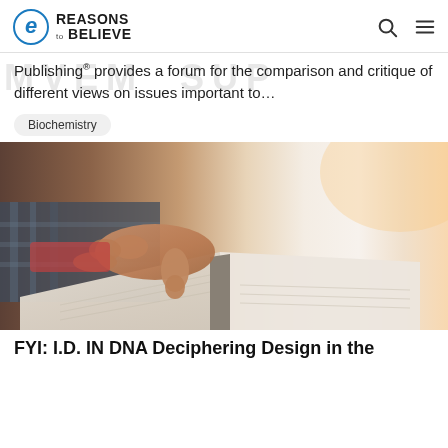Reasons to Believe
Publishing provides a forum for the comparison and critique of different views on issues important to...
Biochemistry
[Figure (photo): Close-up photo of a person's hand pointing at or turning pages of an open book]
FYI: I.D. IN DNA Deciphering Design in the